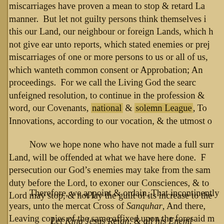miscarriages have proven a mean to stop & retard La manner. But let not guilty persons think themselves i this our Land, our neighbour or foreign Lands, which h not give ear unto reports, which stated enemies or prej miscarriages of one or more persons to us or all of us, which wanteth common consent or Approbation; An proceedings. For we call the Living God the searc unfeigned resolution, to continue in the profession & word, our Covenants, national & solemn League, To Innovations, according to our vocation, & the utmost o
Now we hope none who have not made a full surr Land, will be offended at what we have here done. F persecution our God's enemies may take from the sam duty before the Lord, to exoner our Consciences, & to Lord may stop, & not lay the guilt of its increase to the
Therefore, we appoint & ordain, That incontinently years, unto the mercat Cross of Sanquhar, And there, Leaving copies of the same affixed upon the foresaid m at      upon the 28. day of May 1685.
Let King Jesus Reign, & all his Enemi